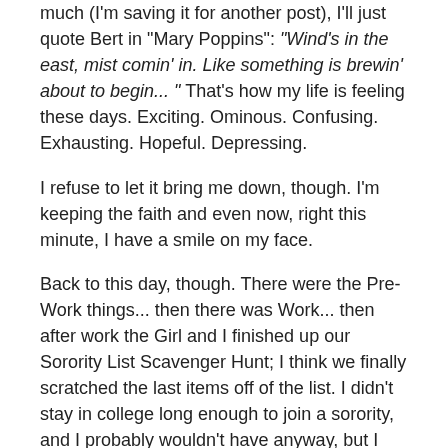much (I'm saving it for another post), I'll just quote Bert in "Mary Poppins": "Wind's in the east, mist comin' in. Like something is brewin' about to begin... " That's how my life is feeling these days. Exciting. Ominous. Confusing. Exhausting. Hopeful. Depressing.
I refuse to let it bring me down, though. I'm keeping the faith and even now, right this minute, I have a smile on my face.
Back to this day, though. There were the Pre-Work things... then there was Work... then after work the Girl and I finished up our Sorority List Scavenger Hunt; I think we finally scratched the last items off of the list. I didn't stay in college long enough to join a sorority, and I probably wouldn't have anyway, but I keep an open mind about them and can see the positive aspects of being a member. Then there are times I have to just bite my tongue, play along and remind myself I'm not the one paying for it.
Anyway, despite the frantic searching and long hours we've spent chasing bargains, I've enjoyed this time with the Girl. When you're with someone you love, it really